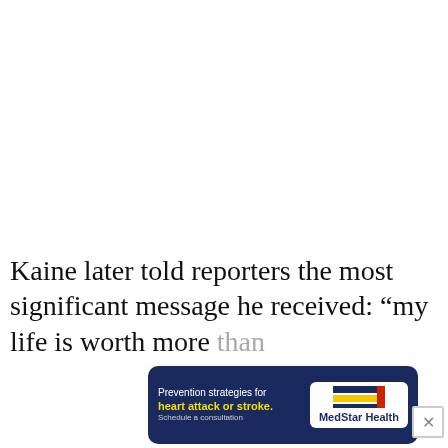Kaine later told reporters the most significant message he received: “my life is worth more than
[Figure (other): Advertisement banner for MedStar Health: 'Prevention strategies for heart attack or stroke. Schedule a consultation.' with MedStar Health logo on dark blue background.]